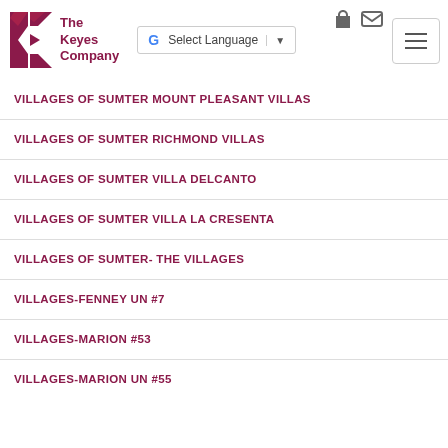[Figure (logo): The Keyes Company logo with stylized red/maroon K graphic and company name text]
[Figure (screenshot): Google Translate 'Select Language' dropdown widget with G logo and dropdown arrow]
[Figure (other): Hamburger menu button (three horizontal lines) in bordered box; login and mail icons in top right]
VILLAGES OF SUMTER MOUNT PLEASANT VILLAS
VILLAGES OF SUMTER RICHMOND VILLAS
VILLAGES OF SUMTER VILLA DELCANTO
VILLAGES OF SUMTER VILLA LA CRESENTA
VILLAGES OF SUMTER- THE VILLAGES
VILLAGES-FENNEY UN #7
VILLAGES-MARION #53
VILLAGES-MARION UN #55